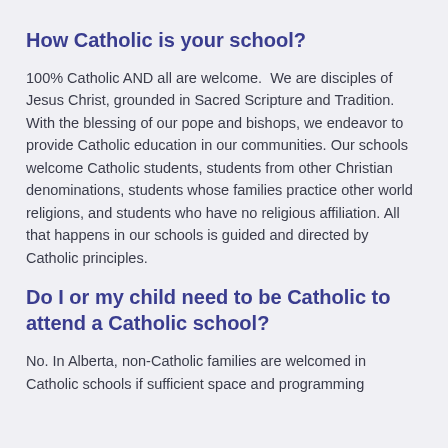How Catholic is your school?
100% Catholic AND all are welcome.  We are disciples of Jesus Christ, grounded in Sacred Scripture and Tradition. With the blessing of our pope and bishops, we endeavor to provide Catholic education in our communities. Our schools welcome Catholic students, students from other Christian denominations, students whose families practice other world religions, and students who have no religious affiliation. All that happens in our schools is guided and directed by Catholic principles.
Do I or my child need to be Catholic to attend a Catholic school?
No. In Alberta, non-Catholic families are welcomed in Catholic schools if sufficient space and programming